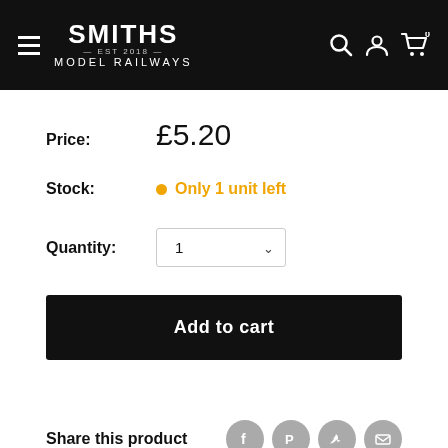[Figure (screenshot): Smiths Model Railways website header with logo, hamburger menu, search, account, and cart icons on black background]
Price:  £5.20
Stock:  Only 1 unit left
Quantity:  1
Add to cart
Share this product